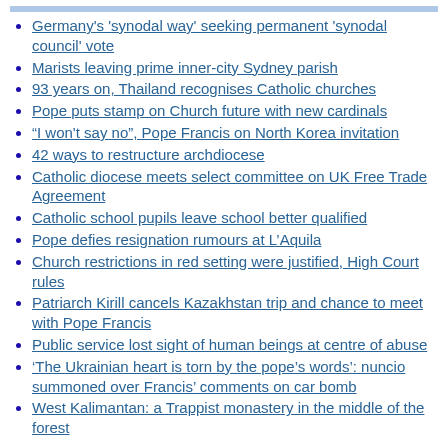Germany's 'synodal way' seeking permanent 'synodal council' vote
Marists leaving prime inner-city Sydney parish
93 years on, Thailand recognises Catholic churches
Pope puts stamp on Church future with new cardinals
“I won't say no”, Pope Francis on North Korea invitation
42 ways to restructure archdiocese
Catholic diocese meets select committee on UK Free Trade Agreement
Catholic school pupils leave school better qualified
Pope defies resignation rumours at L’Aquila
Church restrictions in red setting were justified, High Court rules
Patriarch Kirill cancels Kazakhstan trip and chance to meet with Pope Francis
Public service lost sight of human beings at centre of abuse
‘The Ukrainian heart is torn by the pope’s words’: nuncio summoned over Francis’ comments on car bomb
West Kalimantan: a Trappist monastery in the middle of the forest